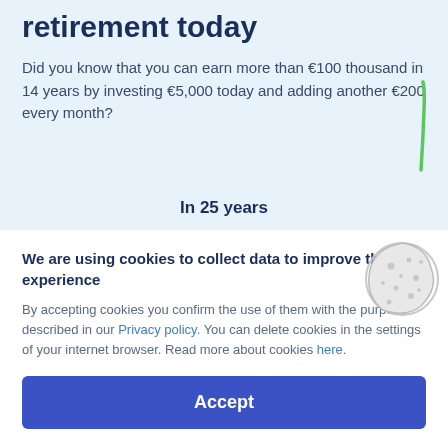retirement today
Did you know that you can earn more than €100 thousand in 14 years by investing €5,000 today and adding another €200 every month?
In 25 years
We are using cookies to collect data to improve the user experience
By accepting cookies you confirm the use of them with the purpose described in our Privacy policy. You can delete cookies in the settings of your internet browser. Read more about cookies here.
Accept